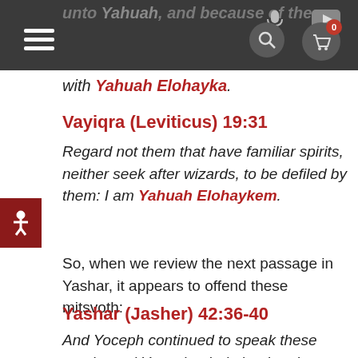unto Yahuah, and because of these
with Yahuah Elohayka.
Vayiqra (Leviticus) 19:31
Regard not them that have familiar spirits, neither seek after wizards, to be defiled by them: I am Yahuah Elohaykem.
So, when we review the next passage in Yashar, it appears to offend these mitsvoth:
Yashar (Jasher) 42:36-40
And Yoceph continued to speak these words, and Yoceph cried aloud and wept bitterly